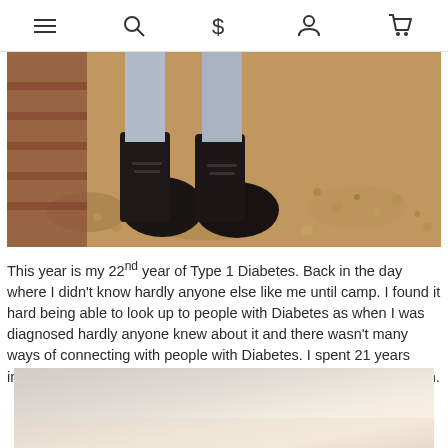Navigation bar with menu, search, dollar sign, profile, and cart icons
[Figure (photo): Close-up photo of person's feet wearing black shoes standing on gravel/pebble ground with brick wall visible]
This year is my 22nd year of Type 1 Diabetes. Back in the day where I didn't know hardly anyone else like me until camp. I found it hard being able to look up to people with Diabetes as when I was diagnosed hardly anyone knew about it and there wasn't many ways of connecting with people with Diabetes. I spent 21 years injecting and after a scare in 2020, I started using a pump and cgm.
[Figure (photo): Partially visible photo with light beige and grey tones, appears to be an outdoor or lifestyle image]